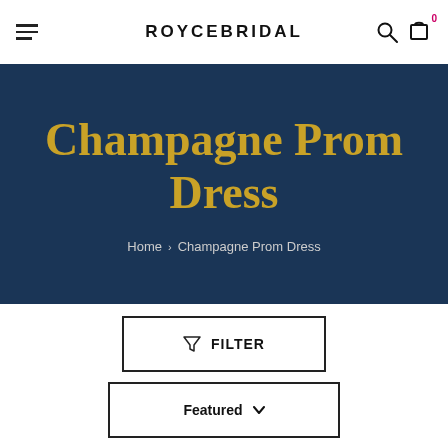ROYCEBRIDAL
Champagne Prom Dress
Home > Champagne Prom Dress
FILTER
Featured